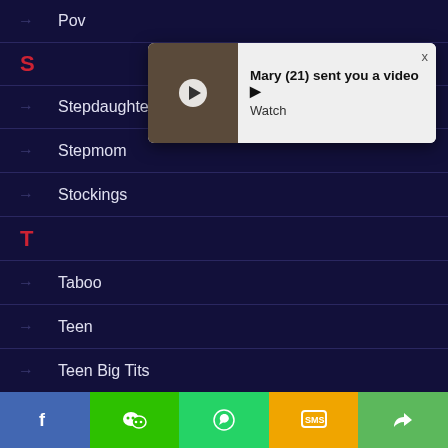→ Pov
[Figure (screenshot): Notification popup: Mary (21) sent you a video ▶ Watch]
→ Stepdaughter
S
→ Stepmom
→ Stockings
T
→ Taboo
→ Teen
→ Teen Big Tits
[Figure (screenshot): Social share bar with Facebook, WeChat, WhatsApp, SMS, and Share buttons]